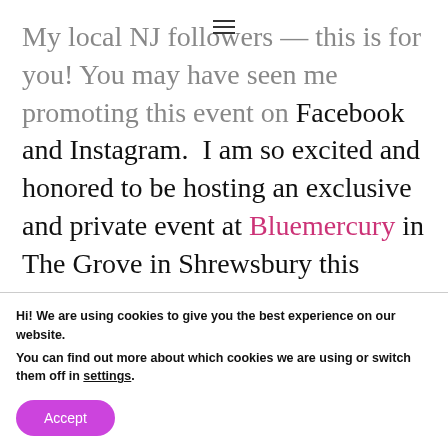My local NJ followers — this is for you! You may have seen me promoting this event on Facebook and Instagram. I am so excited and honored to be hosting an exclusive and private event at Bluemercury in The Grove in Shrewsbury this coming Thursday 11/29 from 7-9pm.
READ MORE
Hi! We are using cookies to give you the best experience on our website. You can find out more about which cookies we are using or switch them off in settings.